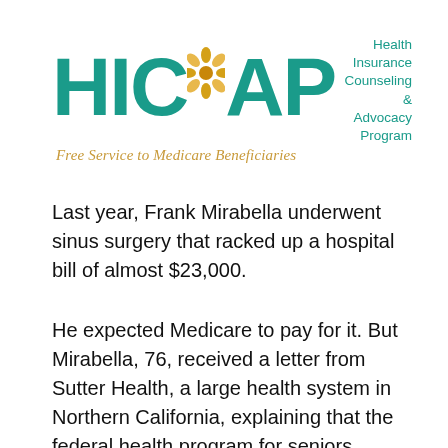[Figure (logo): HICAP logo — teal bold letters spelling HICAP with a small orange flower emblem between the A and P, and to the right the text 'Health Insurance Counseling & Advocacy Program' in teal; below in orange italic: 'Free Service to Medicare Beneficiaries']
Last year, Frank Mirabella underwent sinus surgery that racked up a hospital bill of almost $23,000.
He expected Medicare to pay for it. But Mirabella, 76, received a letter from Sutter Health, a large health system in Northern California, explaining that the federal health program for seniors wouldn't cover the surgery because he had an old, still-open workers' compensation case.